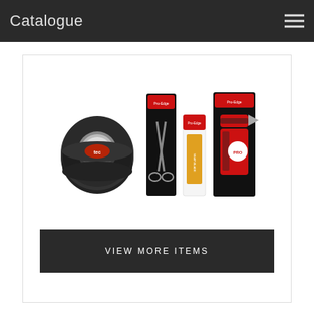Catalogue
[Figure (photo): Product photo showing a black anti-slip tape roll, a pair of scissors in packaging, a box cutter blade refill in packaging, and a red utility knife in packaging]
General
VIEW MORE ITEMS